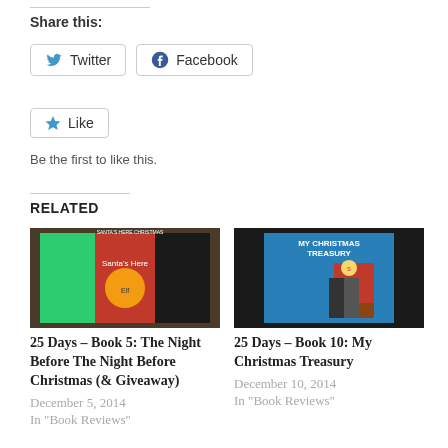Share this:
[Figure (screenshot): Twitter and Facebook share buttons]
[Figure (screenshot): Like button with star icon]
Be the first to like this.
RELATED
[Figure (photo): Book cover for 25 Days - Book 5: The Night Before The Night Before Christmas]
25 Days – Book 5: The Night Before The Night Before Christmas (& Giveaway)
December 5, 2014
In "Book Reviews"
[Figure (photo): Book cover for My Christmas Treasury]
25 Days – Book 10: My Christmas Treasury
December 10, 2014
In "Book Reviews"